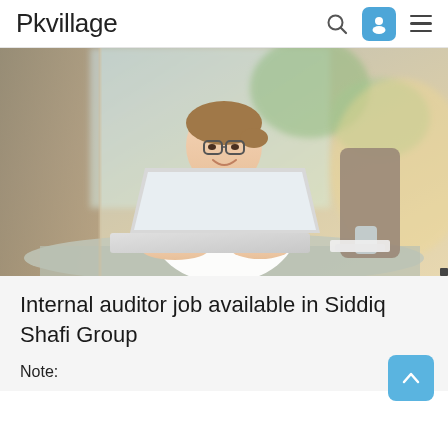Pkvillage
[Figure (photo): A smiling professional woman wearing glasses, sitting at a desk with a laptop computer in front of her. She is wearing a white blouse. The background shows a bright, blurred indoor environment with curtains and greenery.]
Internal auditor job available in Siddiq Shafi Group
Note: